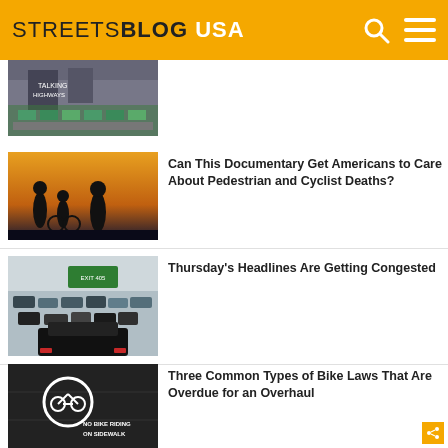STREETSBLOG USA
[Figure (photo): Traffic/street scene image, partially visible at top]
[Figure (photo): Silhouettes of cyclists against sunset sky]
Can This Documentary Get Americans to Care About Pedestrian and Cyclist Deaths?
[Figure (photo): Heavy freeway traffic congestion, aerial view]
Thursday's Headlines Are Getting Congested
[Figure (photo): Sidewalk pavement with 'NO BIKE RIDING ON SIDEWALK' sign and bicycle parking symbol]
Three Common Types of Bike Laws That Are Overdue for an Overhaul